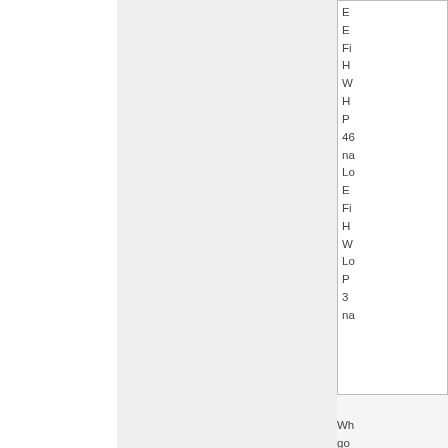| E |
| F |
| H |
| W |
| H |
| P |
| 46 |
| na |
| Lo |
| E |
| F |
| H |
| W |
| Lo |
| P |
| 3 |
| na |
Wh go to sho tha Lo